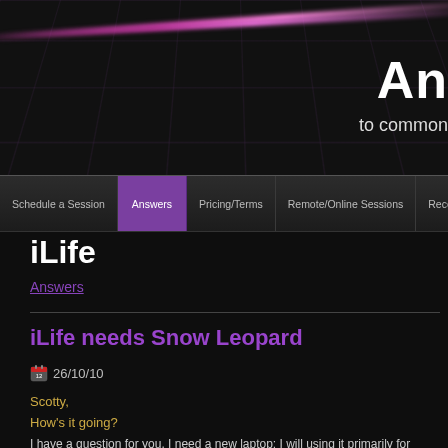An... to common...
iLife
Answers
iLife needs Snow Leopard
26/10/10
Scotty,
How's it going?
I have a question for you. I need a new laptop; I will using it primarily for business, MacBook Air or MacBook Pro Air?